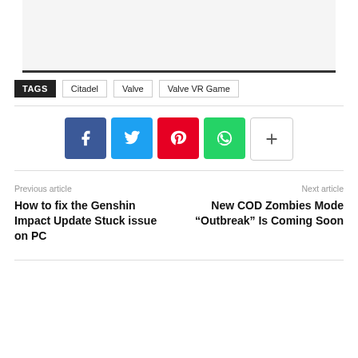[Figure (other): Gray image placeholder area with dark bottom border]
TAGS  Citadel  Valve  Valve VR Game
[Figure (infographic): Social share buttons: Facebook (blue), Twitter (cyan), Pinterest (red), WhatsApp (green), More (white with plus sign)]
Previous article
How to fix the Genshin Impact Update Stuck issue on PC
Next article
New COD Zombies Mode “Outbreak” Is Coming Soon